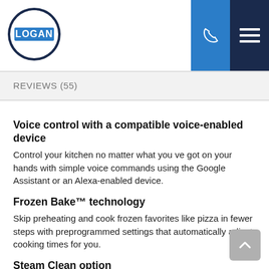[Figure (logo): Logan Master Appliance circular badge logo with blue LOGAN text in center]
REVIEWS (55)
Voice control with a compatible voice-enabled device
Control your kitchen no matter what you ve got on your hands with simple voice commands using the Google Assistant or an Alexa-enabled device.
Frozen Bake™ technology
Skip preheating and cook frozen favorites like pizza in fewer steps with preprogrammed settings that automatically adjust cooking times for you.
Steam Clean option
Clean up after everyday light spills using only heat and 1-1/4 cups of water-no harsh chemicals or cleaners needed. Used periodically to clean light spills on the bottom of the oven, it keeps the oven